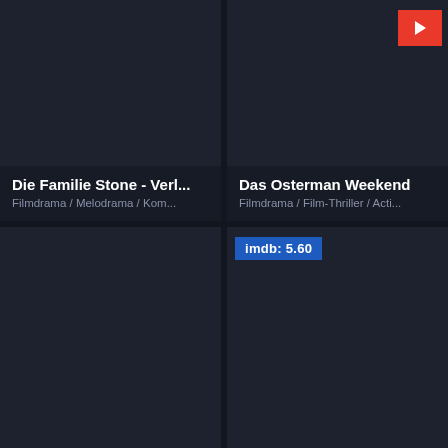[Figure (screenshot): Movie card for 'Die Familie Stone - Verl...' with dark thumbnail, title, and genres Filmdrama / Melodrama / Kom...]
Die Familie Stone - Verl...
Filmdrama / Melodrama / Kom...
[Figure (screenshot): Movie card for 'Das Osterman Weekend' with dark thumbnail, play button, title, and genres Filmdrama / Film-Thriller / Acti...]
Das Osterman Weekend
Filmdrama / Film-Thriller / Acti...
[Figure (screenshot): Movie card bottom-left with dark thumbnail, no visible text]
[Figure (screenshot): Movie card bottom-right with dark thumbnail and IMDB badge showing 5.60]
imdb: 5.60